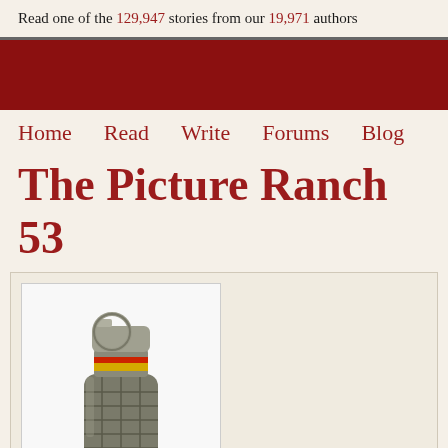Read one of the 129,947 stories from our 19,971 authors
[Figure (other): Dark red banner/advertisement area]
Home  Read  Write  Forums  Blog
The Picture Ranch 53
[Figure (photo): A military hand grenade (appears to be an M67-style) in silver/olive drab color with yellow and red band near the top, ring pull, on white background]